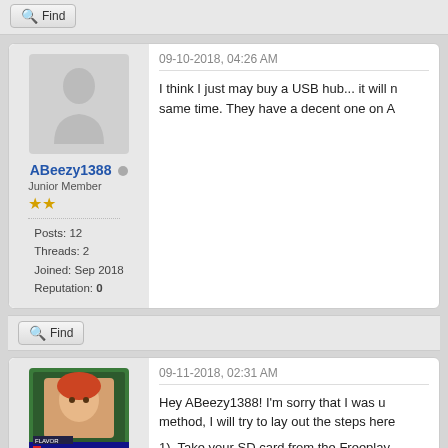Find
09-10-2018, 04:26 AM
[Figure (illustration): Default avatar placeholder silhouette of a person on grey background]
ABeezy1388 Junior Member ★★ Posts: 12 Threads: 2 Joined: Sep 2018 Reputation: 0
I think I just may buy a USB hub... it will n same time. They have a decent one on A
Find
09-11-2018, 02:31 AM
[Figure (illustration): Game character card showing a fighter character with HP 1000 and SP +0 stats]
Flavor
Hey ABeezy1388! I'm sorry that I was u method, I will try to lay out the steps here
1)  Take your SD card from the Freeplay